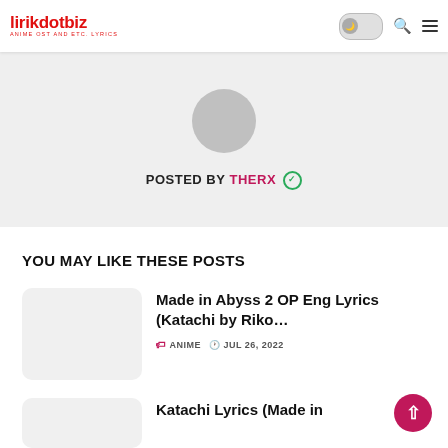lirikdotbiz - ANIME OST AND ETC. LYRICS
POSTED BY THERX ✓
YOU MAY LIKE THESE POSTS
[Figure (other): Thumbnail placeholder for Made in Abyss 2 OP post]
Made in Abyss 2 OP Eng Lyrics (Katachi by Riko...
ANIME · JUL 26, 2022
[Figure (other): Thumbnail placeholder for Katachi Lyrics post]
Katachi Lyrics (Made in